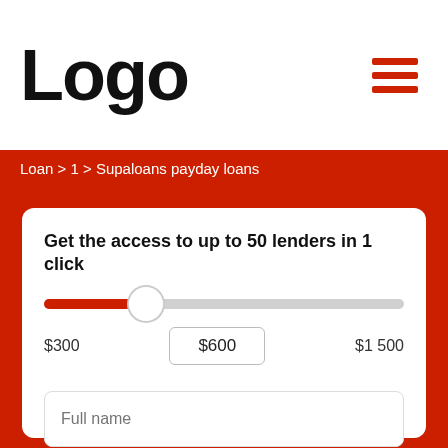[Figure (logo): Logo text in large bold black font]
[Figure (other): Hamburger menu icon with three red horizontal bars]
Loan > 1 > Supaloans payday loans
Get the access to up to 50 lenders in 1 click
[Figure (other): Loan amount slider showing range from $300 to $1 500, current value $600]
Full name